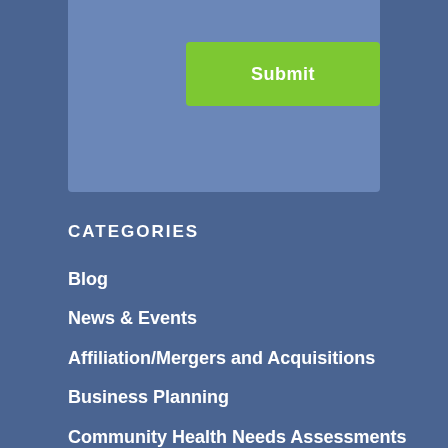[Figure (other): Blue box with a green Submit button]
CATEGORIES
Blog
News & Events
Affiliation/Mergers and Acquisitions
Business Planning
Community Health Needs Assessments
CON and Regulatory
Financial Planning and Feasibility